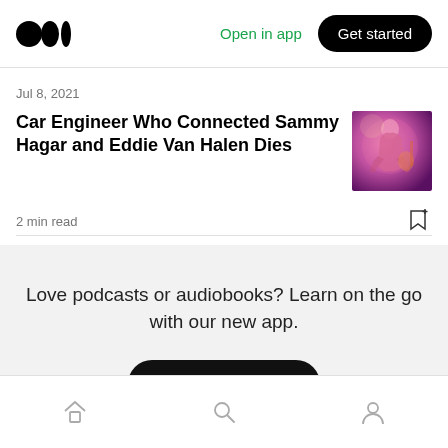Medium logo | Open in app | Get started
Jul 8, 2021
Car Engineer Who Connected Sammy Hagar and Eddie Van Halen Dies
2 min read
[Figure (photo): Concert photo of performer on stage with pink/purple lighting]
Love podcasts or audiobooks? Learn on the go with our new app.
Try Knowable
Home | Search | Profile navigation icons